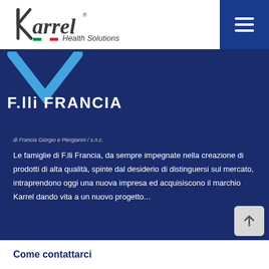[Figure (logo): Karrel Health Solutions logo with stylized K and Italian flag stripe]
[Figure (logo): Blue V-shape chevron with F.lli FRANCIA brand name and subtitle 'di Francia Giorgio e Piergianni / s.n.c.']
Le famiglie di F.lli Francia, da sempre impegnate nella creazione di prodotti di alta qualità, spinte dal desiderio di distinguersi sul mercato, intraprendono oggi una nuova impresa ed acquisiscono il marchio Karrel dando vita a un nuovo progetto...
Leggi tutto
Come contattarci